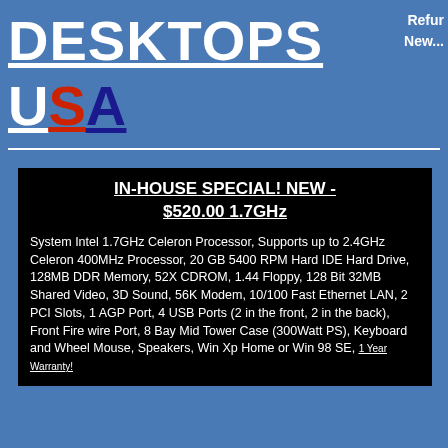DESKTOPS USA
Refur News
IN-HOUSE SPECIAL! NEW - $520.00 1.7GHz
System Intel 1.7GHz Celeron Processor, Supports up to 2.4GHz Celeron 400MHz Processor, 20 GB 5400 RPM Hard IDE Hard Drive, 128MB DDR Memory, 52X CDROM, 1.44 Floppy, 128 Bit 32MB Shared Video, 3D Sound, 56K Modem, 10/100 Fast Ethernet LAN, 2 PCI Slots, 1 AGP Port, 4 USB Ports (2 in the front, 2 in the back), Front Fire wire Port, 8 Bay Mid Tower Case (300Watt PS), Keyboard and Wheel Mouse, Speakers, Win Xp Home or Win 98 SE, 1 Year Warranty!
Free Shipping - free ground shipping in the USA or Canada
PENTIUM
CELERON
Tell-a-Friend
[Figure (photo): Product image of a desktop computer (beige/tan color)]
[Figure (photo): Product image of a desktop computer (dark/gray color)]